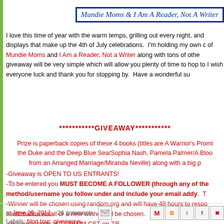[Figure (logo): Banner image reading 'Mundie Moms & I Am A Reader, Not A Writer' in blue italic serif font with blue border]
I love this time of year with the warm temps, grilling out every night, and displays that make up the 4th of July celebrations. I'm holding my own c of Mundie Moms and I Am a Reader, Not a Writer along with tons of othe giveaway will be very simple which will allow you plenty of time to hop to I wish everyone luck and thank you for stopping by. Have a wonderful su
***********GIVEAWAY***********
Prize is paperback copies of these 4 books (titles are A Warrior's Promi the Duke and the Deep Blue Sea/Sophia Nash, Pamela Palmer/A Bloo from an Arranged Marriage/Miranda Neville) along with a big p
-Giveaway is OPEN TO US ENTRANTS!
-To be entered you MUST BECOME A FOLLOWER (through any of the method/username you follow under and include your email addy. T
-Winner will be chosen using random.org and will have 48 hours to respo confirmation email or a new winner will be chosen.
-Giveaway ends at 11:59 PM CST on 7/5.
at June 29, 2012   26 comments:
Labels: blog tour, giveaways